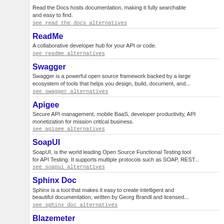Read the Docs hosts documentation, making it fully searchable and easy to find.
see read the docs alternatives
ReadMe
A collaborative developer hub for your API or code.
see readme alternatives
Swagger
Swagger is a powerful open source framework backed by a large ecosystem of tools that helps you design, build, document, and...
see swagger alternatives
Apigee
Secure API management, mobile BaaS, developer productivity, API monetization for mission critical business.
see apigee alternatives
SoapUI
SoapUI, is the world leading Open Source Functional Testing tool for API Testing. It supports multiple protocols such as SOAP, REST...
see soapui alternatives
Sphinx Doc
Sphinx is a tool that makes it easy to create intelligent and beautiful documentation, written by Georg Brandl and licensed...
see sphinx doc alternatives
Blazemeter
BlazeMeter platform for load and performance testing enables dev and QA teams to run scalable and continuous testing for website...
see blazemeter alternatives